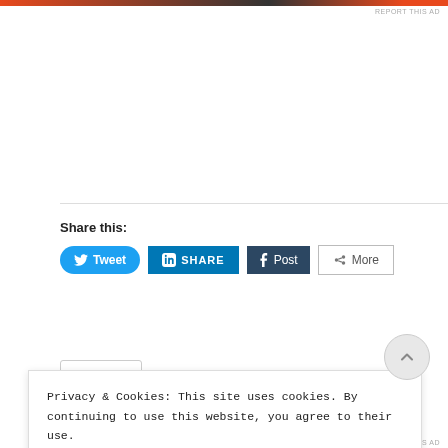[Figure (other): Top advertisement bar with orange and dark gradient colors]
REPORT THIS AD
Share this:
[Figure (other): Tweet button (blue rounded) with Twitter bird icon]
[Figure (other): LinkedIn SHARE button (blue square) with LinkedIn icon]
[Figure (other): Tumblr Post button (dark navy) with Tumblr icon]
[Figure (other): More button (white outlined) with share icon]
Privacy & Cookies: This site uses cookies. By continuing to use this website, you agree to their use. To find out more, including how to control cookies, see here: Our Cookie Policy
CLOSE AND ACCEPT
REPORT THIS AD